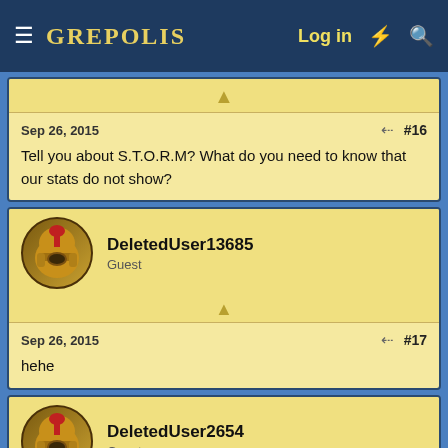GREPOLIS — Log in
Tell you about S.T.O.R.M? What do you need to know that our stats do not show?
Sep 26, 2015  #16
DeletedUser13685
Guest
Sep 26, 2015  #17
hehe
DeletedUser2654
Guest
Oct 16, 2015  #18
TRA and Instinct merged, welcome to the end times 🙂